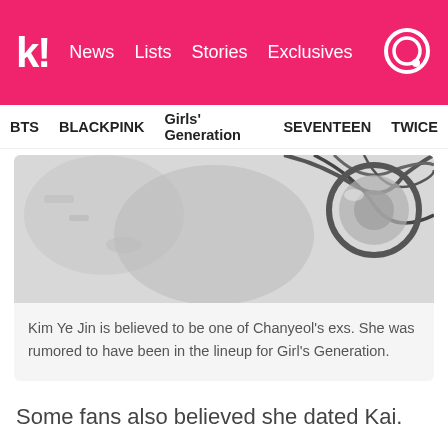k! News Lists Stories Exclusives
BTS BLACKPINK Girls' Generation SEVENTEEN TWICE
[Figure (photo): Black and white photo partially shown, appears to show hair and some objects, likely a person]
Kim Ye Jin is believed to be one of Chanyeol's exs. She was rumored to have been in the lineup for Girl's Generation.
Some fans also believed she dated Kai.
His other rumored girlfriend was a non-celebrity by the name of Kwak Sae Byul. Fans maintained that the two had revealed their